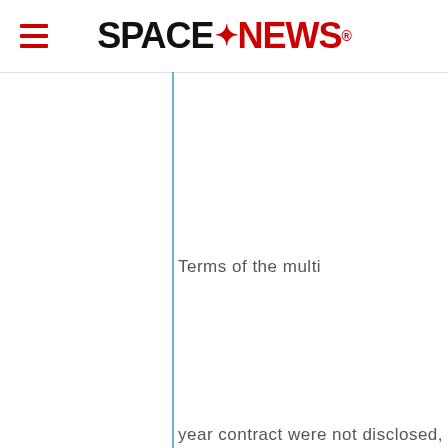SPACENEWS
Terms of the multi
year contract were not disclosed,
Intelsat spokesman Nick Mitsis said via e-mail